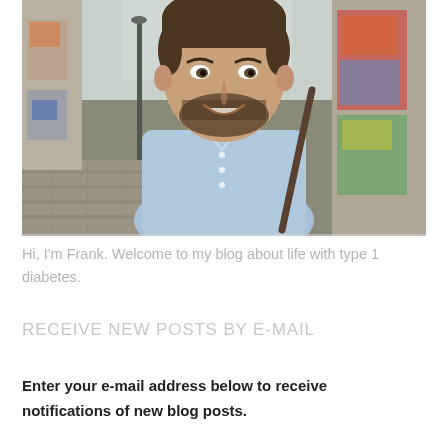[Figure (photo): Portrait photo of a young man named Frank, smiling, wearing a light blue button-down shirt with a dark brown bag strap over one shoulder, standing in a graffiti-lined alley.]
Hi, I'm Frank. Welcome to my blog about life with type 1 diabetes.
RECEIVE NEW POSTS BY E-MAIL
Enter your e-mail address below to receive notifications of new blog posts.